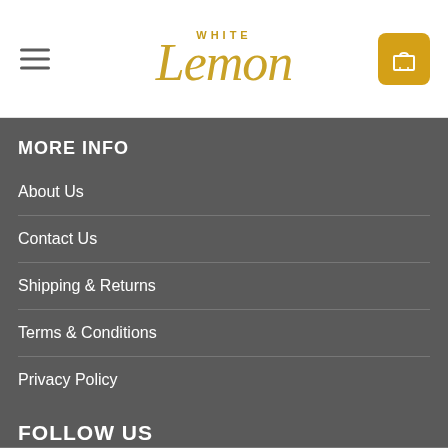[Figure (logo): White Lemon brand logo with hamburger menu icon on the left and a shopping cart button on the right]
MORE INFO
About Us
Contact Us
Shipping & Returns
Terms & Conditions
Privacy Policy
FOLLOW US
White Lemon